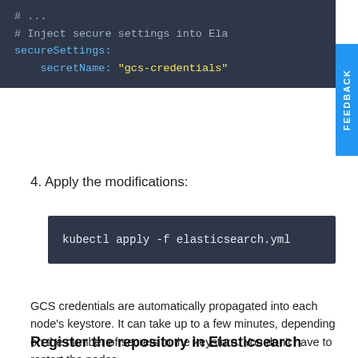[Figure (screenshot): Code block showing YAML configuration with secureSettings and secretName set to gcs-credentials, with comment '# Inject secure settings into Ela...']
4. Apply the modifications:
[Figure (screenshot): Terminal code block showing command: kubectl apply -f elasticsearch.yml]
GCS credentials are automatically propagated into each node's keystore. It can take up to a few minutes, depending on the number of secrets in the keystore. You don't have to restart the nodes.
Register the repository in Elasticsearch